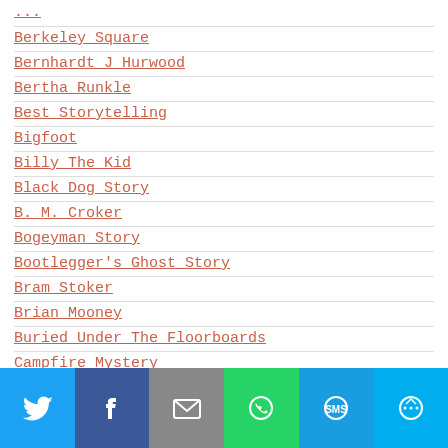Berkeley Square
Bernhardt J Hurwood
Bertha Runkle
Best Storytelling
Bigfoot
Billy The Kid
Black Dog Story
B. M. Croker
Bogeyman Story
Bootlegger's Ghost Story
Bram Stoker
Brian Mooney
Buried Under The Floorboards
Campfire Mystery
Cannibal Plants
Carl Jacobi
[Figure (infographic): Social sharing footer bar with icons for Twitter (blue), Facebook (dark blue), Email (grey), WhatsApp (green), SMS (light blue), More (cyan)]